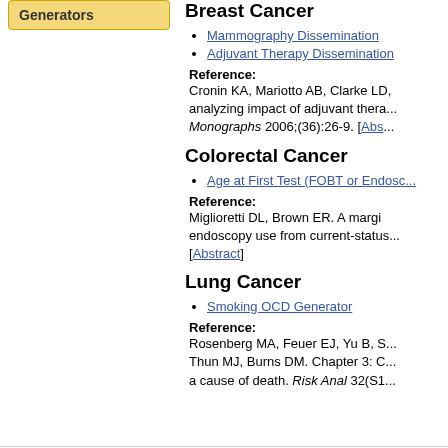Generators
Breast Cancer
Mammography Dissemination
Adjuvant Therapy Dissemination
Reference: Cronin KA, Mariotto AB, Clarke LD, analyzing impact of adjuvant thera... Monographs 2006;(36):26-9. [Abs...
Colorectal Cancer
Age at First Test (FOBT or Endosc...
Reference: Miglioretti DL, Brown ER. A margir... endoscopy use from current-status... [Abstract]
Lung Cancer
Smoking OCD Generator
Reference: Rosenberg MA, Feuer EJ, Yu B, S... Thun MJ, Burns DM. Chapter 3: C... a cause of death. Risk Anal 32(S1...